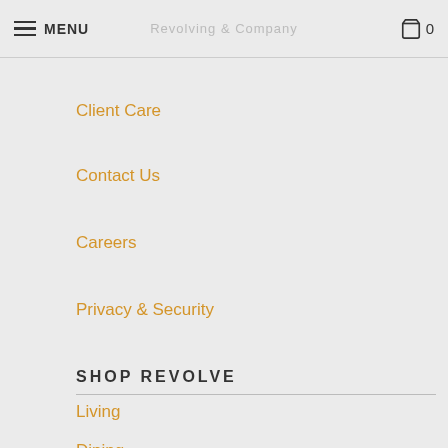MENU  [store name]  0
Client Care
Contact Us
Careers
Privacy & Security
SHOP REVOLVE
Living
Dining
Sleeping
Accessorizing
Made in Canada